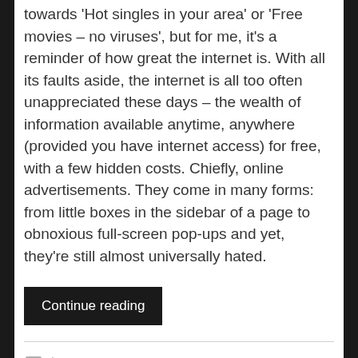towards 'Hot singles in your area' or 'Free movies – no viruses', but for me, it's a reminder of how great the internet is. With all its faults aside, the internet is all too often unappreciated these days – the wealth of information available anytime, anywhere (provided you have internet access) for free, with a few hidden costs. Chiefly, online advertisements. They come in many forms: from little boxes in the sidebar of a page to obnoxious full-screen pop-ups and yet, they're still almost universally hated.
Continue reading
Leave a comment